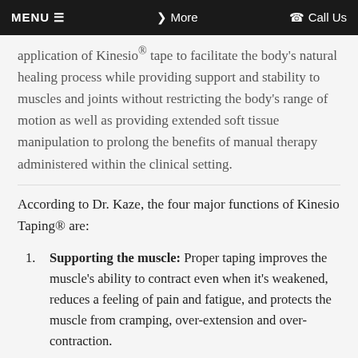MENU ≡   ❯ More   ☎ Call Us
application of Kinesio® tape to facilitate the body's natural healing process while providing support and stability to muscles and joints without restricting the body's range of motion as well as providing extended soft tissue manipulation to prolong the benefits of manual therapy administered within the clinical setting.
According to Dr. Kaze, the four major functions of Kinesio Taping® are:
Supporting the muscle: Proper taping improves the muscle's ability to contract even when it's weakened, reduces a feeling of pain and fatigue, and protects the muscle from cramping, over-extension and over-contraction.
Removing congestion to the flow of body fluids: Kinesiology tape improves blood and lymphatic...